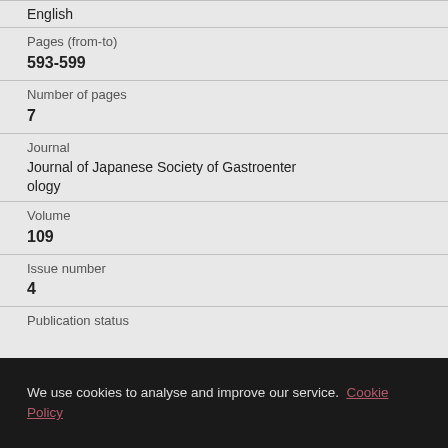English
Pages (from-to)
593-599
Number of pages
7
Journal
Journal of Japanese Society of Gastroenterology
Volume
109
Issue number
4
Publication status
We use cookies to analyse and improve our service. Cookie Policy